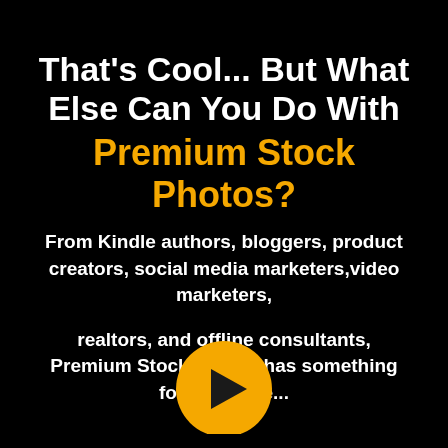That's Cool... But What Else Can You Do With Premium Stock Photos?
From Kindle authors, bloggers, product creators, social media marketers,video marketers,

realtors, and offline consultants, Premium Stock Photos has something for everyone...
[Figure (illustration): Orange circular play button icon (triangle pointing right inside a circle)]